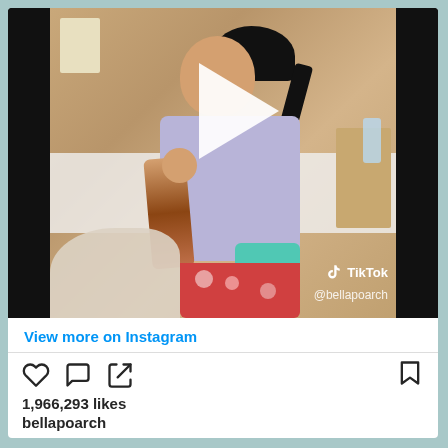[Figure (screenshot): Instagram post screenshot showing a TikTok video of a woman dancing in a hotel room. The video is framed with black bars on left and right sides. A white play button triangle is overlaid in the center-top area. TikTok watermark and @bellapoarch username visible in bottom-right of video.]
View more on Instagram
[Figure (illustration): Social media action icons: heart (like), speech bubble (comment), share arrow, and bookmark]
1,966,293 likes
bellapoarch